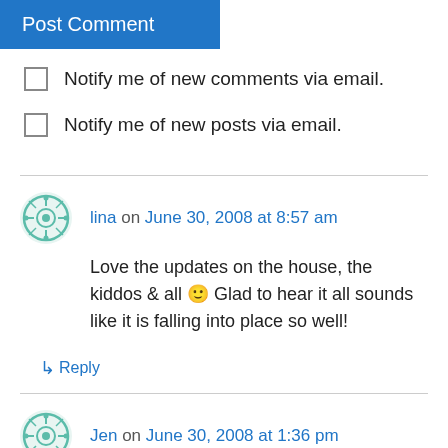Post Comment
Notify me of new comments via email.
Notify me of new posts via email.
lina on June 30, 2008 at 8:57 am
Love the updates on the house, the kiddos & all 🙂 Glad to hear it all sounds like it is falling into place so well!
↳ Reply
Jen on June 30, 2008 at 1:36 pm
I am so glad things are going well! I am excited